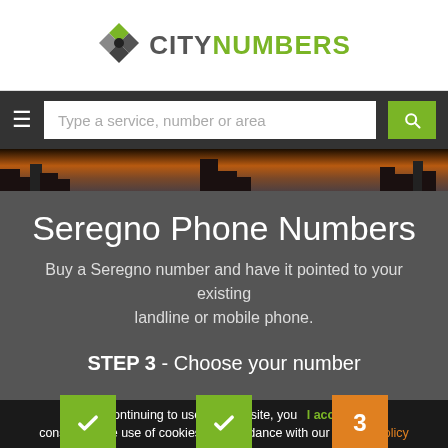[Figure (logo): CityNumbers logo with diamond icon on left and CITYNUMBERS text on right]
[Figure (screenshot): Navigation bar with hamburger menu, search input 'Type a service, number or area', and green search button]
[Figure (photo): City skyline at sunset/dusk with dark buildings silhouette]
Seregno Phone Numbers
Buy a Seregno number and have it pointed to your existing landline or mobile phone.
STEP 3 - Choose your number
[Figure (infographic): Three-step progress indicator: Step 1 CHOOSE COUNTRY (green checkmark), Step 2 CHOOSE CITY (green checkmark), Step 3 CHOOSE NUMBER (orange, active)]
By continuing to use this website, you consent to the use of cookies in accordance with our Cookie Policy
I accept